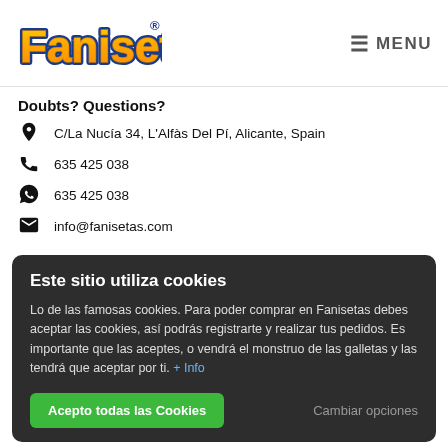Fanisetas — MENU
Doubts? Questions?
C/La Nucía 34, L'Alfàs Del Pí, Alicante, Spain
635 425 038
635 425 038
info@fanisetas.com
Este sitio utiliza cookies
Lo de las famosas cookies. Para poder comprar en Fanisetas debes aceptar las cookies, así podrás registrarte y realizar tus pedidos. Es importante que las aceptes, o vendrá el monstruo de las galletas y las tendrá que aceptar por ti. + Info
Acepto todas las Cookies
Cambiar opciones